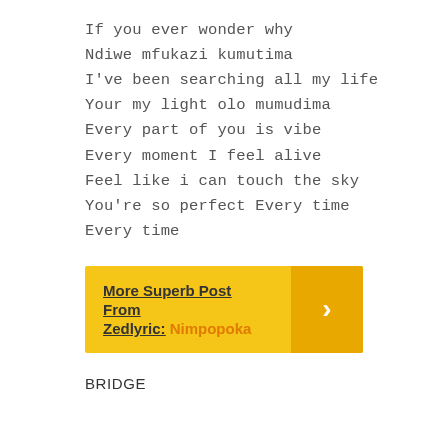If you ever wonder why
Ndiwe mfukazi kumutima
I've been searching all my life
Your my light olo mumudima
Every part of you is vibe
Every moment I feel alive
Feel like i can touch the sky
You're so perfect Every time
Every time
[Figure (infographic): Yellow banner with bold underlined text 'More Superb Post From Zedlyric:' and orange text 'Nimpopoka', with a darker orange right section containing a white right-arrow chevron.]
BRIDGE